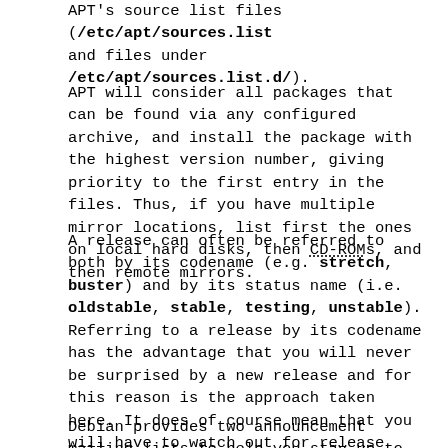APT's source list files (/etc/apt/sources.list and files under /etc/apt/sources.list.d/).
APT will consider all packages that can be found via any configured archive, and install the package with the highest version number, giving priority to the first entry in the files. Thus, if you have multiple mirror locations, list first the ones on local hard disks, then CD-ROMs, and then remote mirrors.
A release can often be referred to both by its codename (e.g. stretch, buster) and by its status name (i.e. oldstable, stable, testing, unstable). Referring to a release by its codename has the advantage that you will never be surprised by a new release and for this reason is the approach taken here. It does of course mean that you will have to watch out for release announcements yourself. If you use the status name instead, you will just see loads of updates for packages available as soon as a release has happened.
Debian provides two announcement mailing lists to help you stay up to date on relevant information